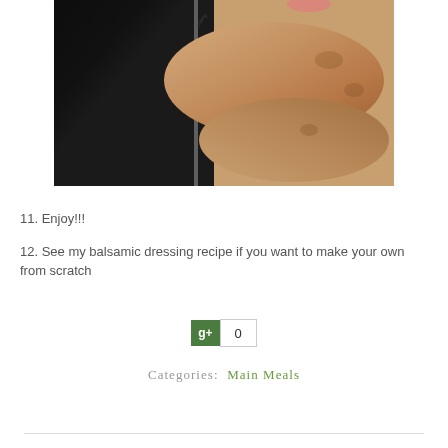[Figure (photo): Photo of bread/rolls in a plastic bag on a dark background, viewed from above at an angle]
11. Enjoy!!!
12. See my balsamic dressing recipe if you want to make your own from scratch
[Figure (other): Google Plus +1 button showing count of 0]
Categories:  Main Meals